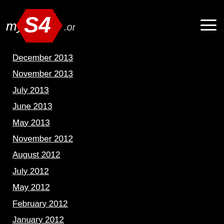myS4.org
December 2013
November 2013
July 2013
June 2013
May 2013
November 2012
August 2012
July 2012
May 2012
February 2012
January 2012
December 2011
August 2011
February 2011
November 2010
October 2010